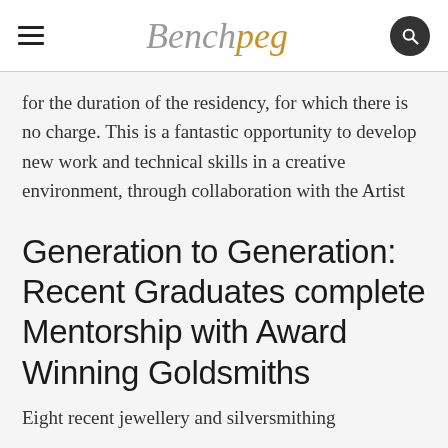Benchpeg
for the duration of the residency, for which there is no charge. This is a fantastic opportunity to develop new work and technical skills in a creative environment, through collaboration with the Artist
Generation to Generation: Recent Graduates complete Mentorship with Award Winning Goldsmiths
Eight recent jewellery and silversmithing